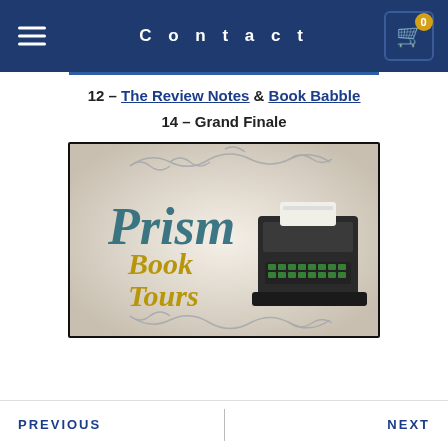Contact
12 – The Review Notes & Book Babble
14 – Grand Finale
[Figure (logo): Prism Book Tours logo with decorative scroll borders, cursive 'Prism' text in teal, 'Book Tours' in gold serif, and vintage typewriter illustration on right side]
PREVIOUS | NEXT